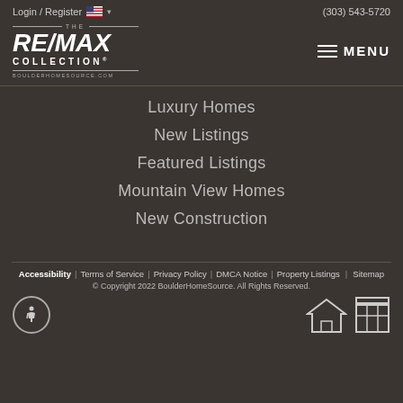Login / Register  (303) 543-5720
[Figure (logo): RE/MAX Collection BoulderHomeSource.com logo with THE above and BOULDERHOMESOURCE.COM below]
MENU
Luxury Homes
New Listings
Featured Listings
Mountain View Homes
New Construction
Accessibility | Terms of Service | Privacy Policy | DMCA Notice | Property Listings | Sitemap  © Copyright 2022 BoulderHomeSource. All Rights Reserved.